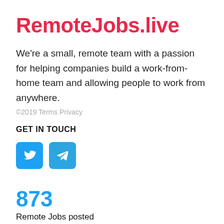RemoteJobs.live
We're a small, remote team with a passion for helping companies build a work-from-home team and allowing people to work from anywhere.
©2019 Terms Privacy
GET IN TOUCH
[Figure (illustration): Two social media icon buttons: a Twitter bird icon (blue) and a Telegram paper plane icon (blue)]
873
Remote Jobs posted
Post a Job for FREE